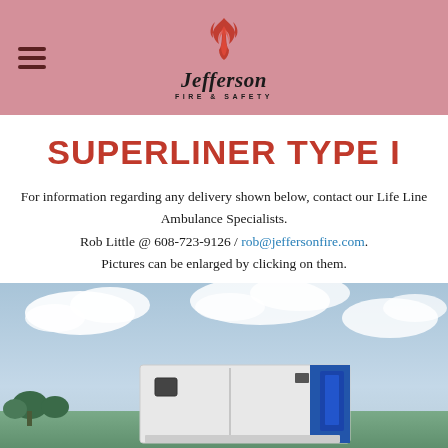Jefferson Fire & Safety
SUPERLINER TYPE I
For information regarding any delivery shown below, contact our Life Line Ambulance Specialists.
Rob Little @ 608-723-9126 / rob@jeffersonfire.com.
Pictures can be enlarged by clicking on them.
[Figure (photo): Ambulance vehicle (Superliner Type I) photographed outdoors against a partly cloudy sky]